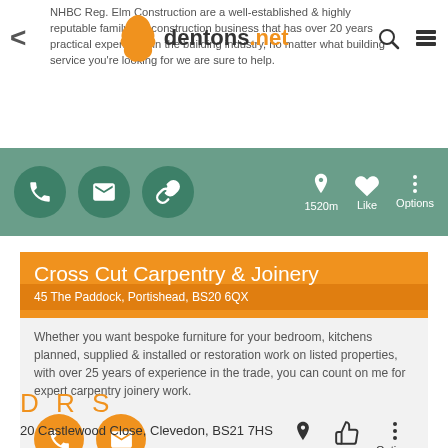dentons.net
NHBC Reg. Elm Construction are a well-established & highly reputable family run construction business that has over 20 years practical experience in the building industry, no matter what building service you're looking for we are sure to help.
[Figure (infographic): Green action bar with phone, email, and link icon circles, plus location pin showing 1520m, Like thumbs-up, and Options menu]
Cross Cut Carpentry & Joinery
45 The Paddock, Portishead, BS20 6QX
Whether you want bespoke furniture for your bedroom, kitchens planned, supplied & installed or restoration work on listed properties, with over 25 years of experience in the trade, you can count on me for expert carpentry joinery work.
[Figure (infographic): Orange action bar with phone and email icon circles, plus location pin showing 4.49m, Like thumbs-up, and Options menu]
D R S
20 Castlewood Close, Clevedon, BS21 7HS